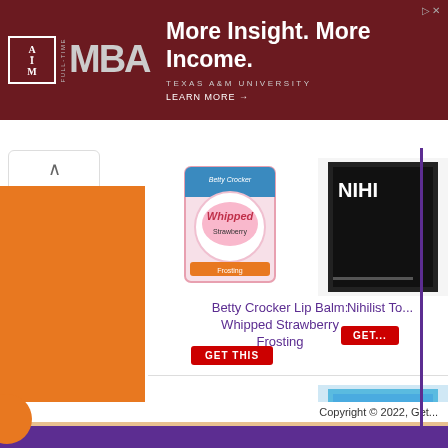[Figure (screenshot): Texas A&M University Full-Time MBA advertisement banner with maroon background, logo, and text 'More Insight. More Income.' with 'LEARN MORE' link]
[Figure (photo): Betty Crocker Whipped Frosting product package used as lip balm novelty item]
Betty Crocker Lip Balm: Whipped Strawberry Frosting
GET THIS
[Figure (photo): Nihilist To... product (partially cropped)]
Nihilist To...
GET...
[Figure (photo): Phone Shower Head - a red telephone-shaped shower head spraying water]
Phone Shower Head
GET THIS
[Figure (photo): Glow in the D... Toilet... book cover (partially cropped)]
Glow in the D... Toilet...
GET...
Copyright © 2022, Get...